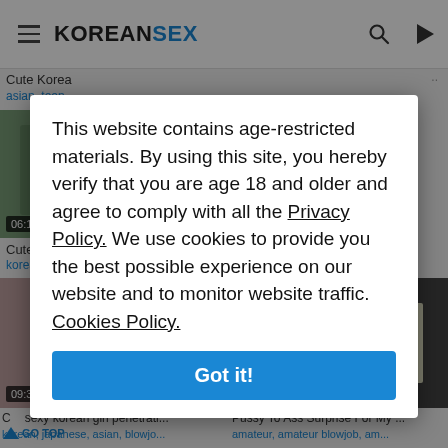KOREANSEX
Cute Korea
asian, teen
[Figure (screenshot): Video thumbnail with greenish background, timer 06:10]
Cute korea
korean, asi
[Figure (screenshot): Video thumbnail, couple kissing, timer 09:35]
[Figure (screenshot): Video thumbnail with handwritten Snapchat name, timer 43]
Cute sexy korean girl penetrati...
korean, japanese, asian, blowjo...
Pussy To Ass Surprise For My ...
amateur, amateur blowjob, am...
This website contains age-restricted materials. By using this site, you hereby verify that you are age 18 and older and agree to comply with all the Privacy Policy. We use cookies to provide you the best possible experience on our website and to monitor website traffic. Cookies Policy.
Got it!